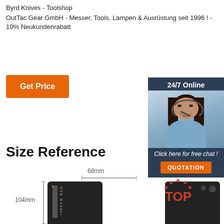Byrd Knives - Toolshop
OutTac Gear GmbH - Messer, Tools, Lampen & Ausrüstung seit 1996 ! - 10% Neukundenrabatt
[Figure (other): Orange 'Get Price' button]
[Figure (other): Sidebar ad with '24/7 Online' label, customer service agent photo, 'Click here for free chat!' text, and orange QUOTATION button on dark blue background]
Size Reference
[Figure (other): Two black USB hub devices shown for size reference. Left device labeled with 68mm width and 104mm height dimensions with bracket lines. Right device shown with a 'TOP' logo overlay in orange/red.]